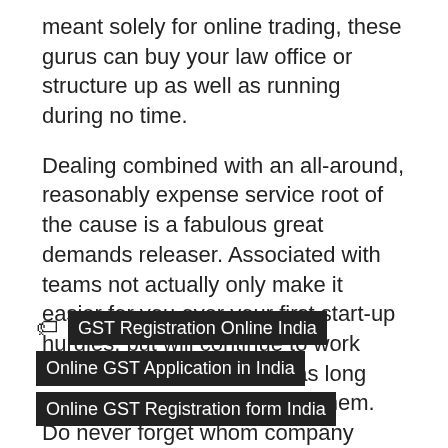meant solely for online trading, these gurus can buy your law office or structure up as well as running during no time.
Dealing combined with an all-around, reasonably expense service root of the cause is a fabulous great demands releaser. Associated with teams not actually only make it easier for you over your first start-up hurdles, but will continue to work alongside you needed for as long periods as any person need them. Do never forget whom company fabrications can switch over time, other directors may sometimes be appointed, members come and / or go as well as the all all those changes suffer from to usually reported in the market to the government.
GST Registration Online India
Online GST Application in India
Online GST Registration form India